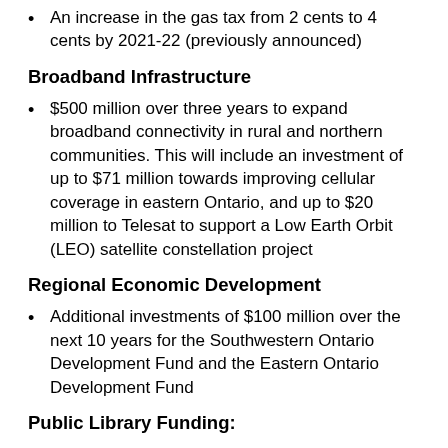An increase in the gas tax from 2 cents to 4 cents by 2021-22 (previously announced)
Broadband Infrastructure
$500 million over three years to expand broadband connectivity in rural and northern communities. This will include an investment of up to $71 million towards improving cellular coverage in eastern Ontario, and up to $20 million to Telesat to support a Low Earth Orbit (LEO) satellite constellation project
Regional Economic Development
Additional investments of $100 million over the next 10 years for the Southwestern Ontario Development Fund and the Eastern Ontario Development Fund
Public Library Funding:
$28 million over three years to create a provincial Digital Public Library that provides